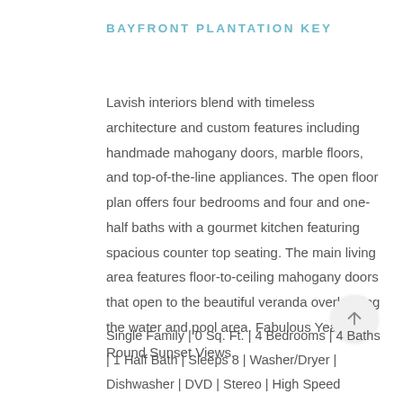BAYFRONT PLANTATION KEY
Lavish interiors blend with timeless architecture and custom features including handmade mahogany doors, marble floors, and top-of-the-line appliances. The open floor plan offers four bedrooms and four and one-half baths with a gourmet kitchen featuring spacious counter top seating. The main living area features floor-to-ceiling mahogany doors that open to the beautiful veranda overlooking the water and pool area. Fabulous Year-Round Sunset Views.
Single Family | 0 Sq. Ft. | 4 Bedrooms | 4 Baths | 1 Half Bath | Sleeps 8 | Washer/Dryer | Dishwasher | DVD | Stereo | High Speed